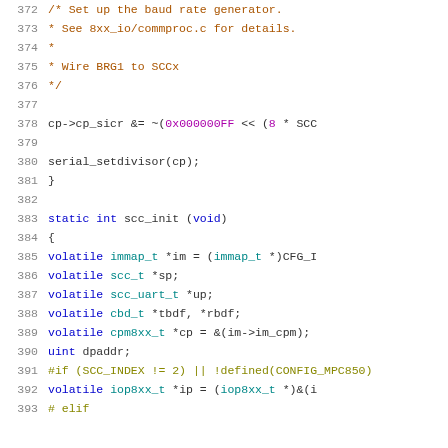Source code listing, lines 372–392, C language (Linux kernel baud rate / SCC init code)